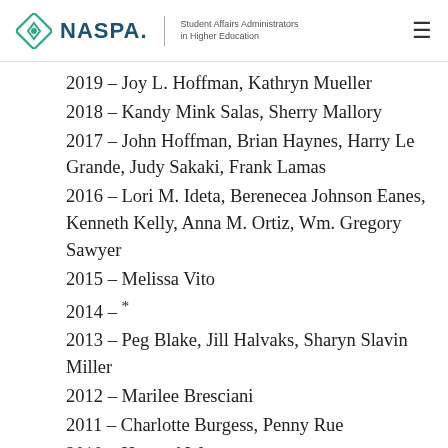NASPA | Student Affairs Administrators in Higher Education
2019 - Joy L. Hoffman, Kathryn Mueller
2018 - Kandy Mink Salas, Sherry Mallory
2017 - John Hoffman, Brian Haynes, Harry Le Grande, Judy Sakaki, Frank Lamas
2016 - Lori M. Ideta, Berenecea Johnson Eanes, Kenneth Kelly, Anna M. Ortiz, Wm. Gregory Sawyer
2015 - Melissa Vito
2014 - *
2013 - Peg Blake, Jill Halvaks, Sharyn Slavin Miller
2012 - Marilee Bresciani
2011 - Charlotte Burgess, Penny Rue
2010 - Howard Wang
2009 - Susan Hunter Hancock, Robert